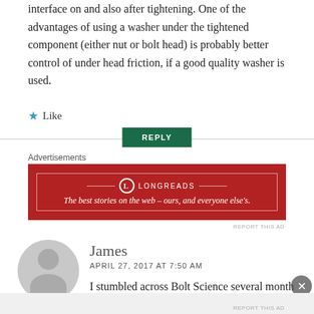interface on and also after tightening. One of the advantages of using a washer under the tightened component (either nut or bolt head) is probably better control of under head friction, if a good quality washer is used.
★ Like
REPLY
Advertisements
[Figure (illustration): Longreads advertisement banner with dark red background. Circle logo with 'L', text 'LONGREADS', tagline: 'The best stories on the web – ours, and everyone else's.']
REPORT THIS AD
James
APRIL 27, 2017 AT 7:50 AM
I stumbled across Bolt Science several month
Advertisements
REPORT THIS AD